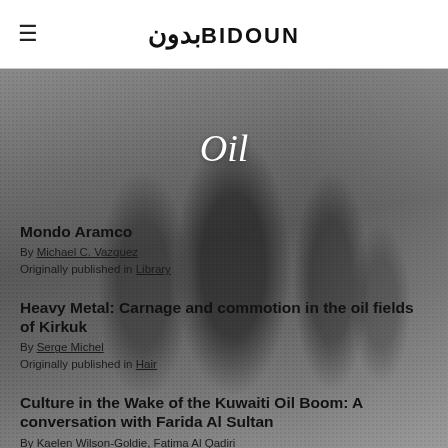بدون BIDOUN
Oil
[Figure (photo): Grayscale historical photograph showing several men in traditional Middle Eastern dress, standing/walking in an outdoor setting, possibly an oil field.]
Mondo Aramco
By Michael C. Vazquez
Originally published in Library
Heavy Metal: Carnage and commotion in the oil fields of Kirkuk
By Serge Michel
Originally published in Hair
Culture in the Wake of the Kuwaiti Oil Boom: A conversation with Farida Al Sultan
By Kaelen Wilson-Goldie, Fatima Al Qadiri
Originally published in Bazaar